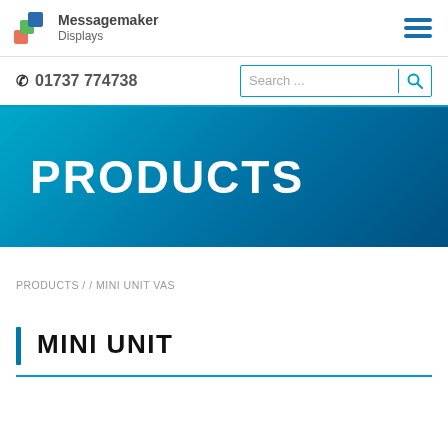[Figure (logo): Messagemaker Displays logo with colorful stacked square icons]
01737 774738
PRODUCTS
PRODUCTS / / MINI UNIT VAS
MINI UNIT